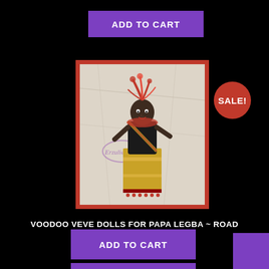ADD TO CART
[Figure (photo): A voodoo doll figure decorated with red feathers, black fabric, gold trim, and red beads, with a sash. Set against a white crumpled background with a red border. Erzulies brand watermark visible.]
SALE!
VOODOO VEVE DOLLS FOR PAPA LEGBA ~ ROAD OPENING VOODOO DOLLS
$65.00  $55.00
ADD TO CART